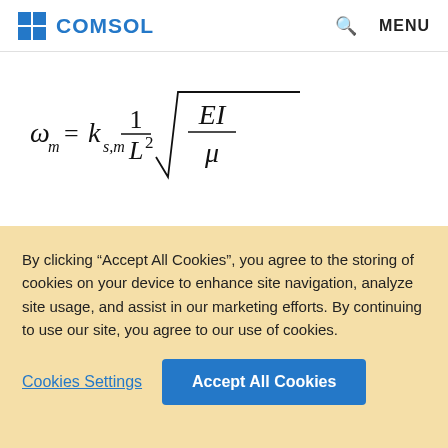COMSOL
The coefficient k_{s,m} depends on the support conditions and the number of the mode.
| Condition | k |
| --- | --- |
By clicking “Accept All Cookies”, you agree to the storing of cookies on your device to enhance site navigation, analyze site usage, and assist in our marketing efforts. By continuing to use our site, you agree to our use of cookies.